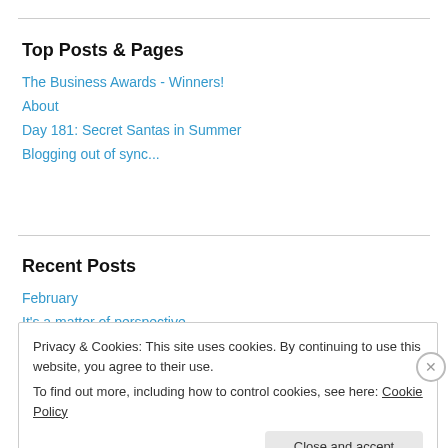Top Posts & Pages
The Business Awards - Winners!
About
Day 181: Secret Santas in Summer
Blogging out of sync...
Recent Posts
February
It's a matter of perspective
Privacy & Cookies: This site uses cookies. By continuing to use this website, you agree to their use.
To find out more, including how to control cookies, see here: Cookie Policy
Close and accept